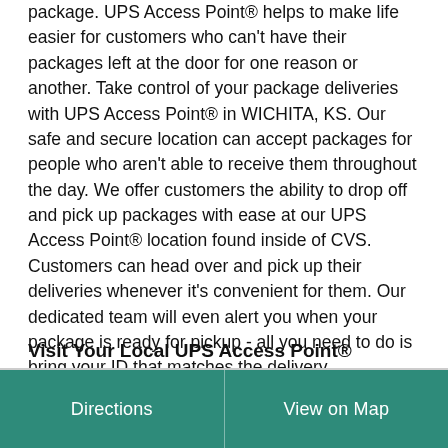package. UPS Access Point® helps to make life easier for customers who can't have their packages left at the door for one reason or another. Take control of your package deliveries with UPS Access Point® in WICHITA, KS. Our safe and secure location can accept packages for people who aren't able to receive them throughout the day. We offer customers the ability to drop off and pick up packages with ease at our UPS Access Point® location found inside of CVS. Customers can head over and pick up their deliveries whenever it's convenient for them. Our dedicated team will even alert you when your package is ready for pickup - all you need to do is bring your ID that matches the delivery information, and you'll be good to go.
Visit Your Local UPS Access Point®